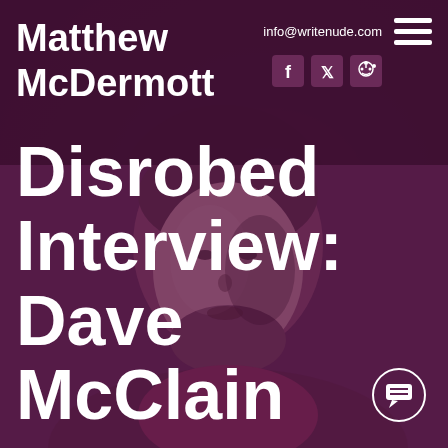Matthew McDermott
info@writenude.com
[Figure (illustration): Portrait photo of a bearded man with short hair, shown from shoulders up, overlaid with a dark purple/maroon tint]
Disrobed Interview: Dave McClain